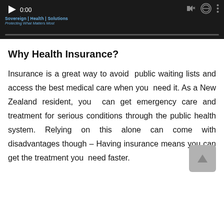[Figure (screenshot): Video player thumbnail showing a dark/black background with a play button, timestamp '0:00', video controls, and a blue brand logo with text 'Sovereign | Health | Solutions' and tagline 'Protecting What Matters Most'. A progress bar is visible at the bottom.]
Why Health Insurance?
Insurance is a great way to avoid public waiting lists and access the best medical care when you need it. As a New Zealand resident, you can get emergency care and treatment for serious conditions through the public health system. Relying on this alone can come with disadvantages though – Having insurance means you can get the treatment you need faster.